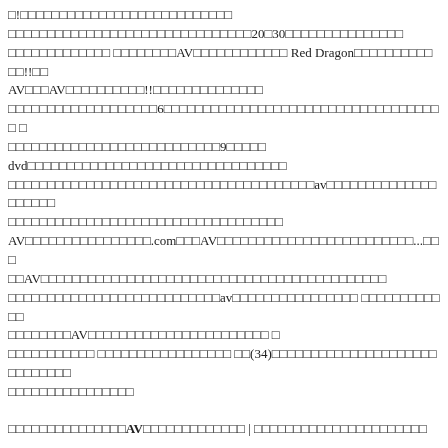□!□□□□□□□□□□□□□□□□□□□□□□□□□□□
□□□□□□□□□□□□□□□□□□□□□□□□□□□□□□□20□30□□□□□□□□□□□□□□□
□□□□□□□□□□□□□ □□□□□□□□AV□□□□□□□□□□□□ Red Dragon□□□□□□□□□□□□!!□□
AV□□□AV□□□□□□□□□□!!□□□□□□□□□□□□□□
□□□□□□□□□□□□□□□□□□□6□□□□□□□□□□□□□□□□□□□□□□□□□□□□□□□□□□□□ □
□□□□□□□□□□□□□□□□□□□□□□□□□□□9□□□□□
dvd□□□□□□□□□□□□□□□□□□□□□□□□□□□□□□□□□
□□□□□□□□□□□□□□□□□□□□□□□□□□□□□□□□□□□□□□□av□□□□□□□□□□□□□□□□□□□□
□□□□□□□□□□□□□□□□□□□□□□□□□□□□□□□□□□□
AV□□□□□□□□□□□□□□□□.com□□□AV□□□□□□□□□□□□□□□□□□□□□□□□□...□□□
□□AV□□□□□□□□□□□□□□□□□□□□□□□□□□□□□□□□□□□□□□□□□□□□
□□□□□□□□□□□□□□□□□□□□□□□□□□□av□□□□□□□□□□□□□□□□ □□□□□□□□□□□□
□□□□□□□□AV□□□□□□□□□□□□□□□□□□□□□□□ □
□□□□□□□□□□□ □□□□□□□□□□□□□□□□□ □□(34)□□□□□□□□□□□□□□□□□□□□□□□□□□□□□
□□□□□□□□□□□□□□□□
□□□□□□□□□□□□□□□AV□□□□□□□□□□□□□ | □□□□□□□□□□□□□□□□□□□□□□
□□□□□□□□□□□□□□ □□AV□□□□□□□□□□□□□□□□□□□□□□□□□□□□□□□□□□□□□□□□□□□□ -- (□□□□) 19:04:47 ↑□□□
AV□□□□□□□□□□□□□□□□□□□□ □□□□□AV□□□□□□□□□□□□□ AV□□□□□□□□□